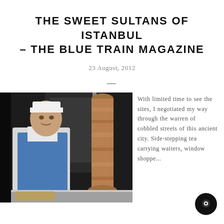THE SWEET SULTANS OF ISTANBUL – THE BLUE TRAIN MAGAZINE
23 August, 2012
[Figure (photo): A kebab shop cook wearing a white hat and blue apron standing next to a large rotating kebab spit in Istanbul]
With limited time to see the sites, I negotiated my way through the warren of cobbled streets of this ancient city. Side-stepping tea carrying waiters, window shoppe...